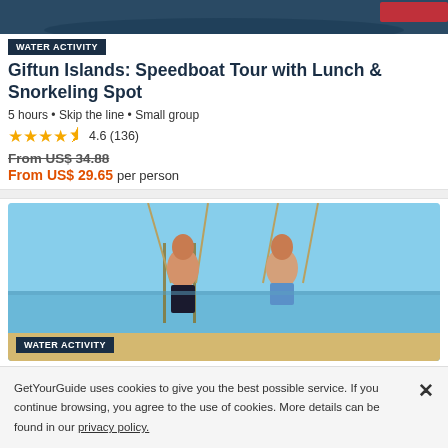[Figure (photo): Top portion of a water activity photo showing a boat on water]
WATER ACTIVITY
Giftun Islands: Speedboat Tour with Lunch & Snorkeling Spot
5 hours • Skip the line • Small group
4.6 (136)
From US$ 34.88
From US$ 29.65 per person
[Figure (photo): Two people on rope swings on a beach with blue water in the background. WATER ACTIVITY badge visible.]
Hurghada: Orange Bay Island Luxury Cruise Snorkeling & Lunch
GetYourGuide uses cookies to give you the best possible service. If you continue browsing, you agree to the use of cookies. More details can be found in our privacy policy.